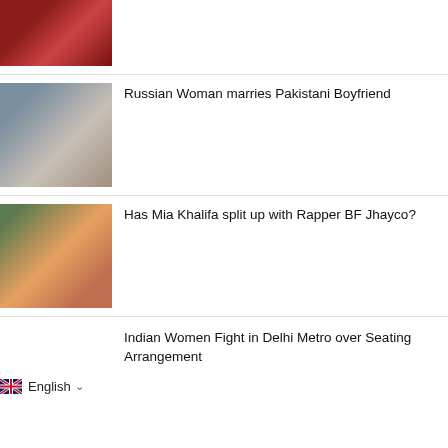[Figure (photo): Two women in red outfits (partially cropped at top)]
[Figure (photo): A young man and a woman wearing a headscarf, side by side]
Russian Woman marries Pakistani Boyfriend
[Figure (photo): A woman in a pink top and a man in a brown jacket and sunglasses]
Has Mia Khalifa split up with Rapper BF Jhayco?
Indian Women Fight in Delhi Metro over Seating Arrangement